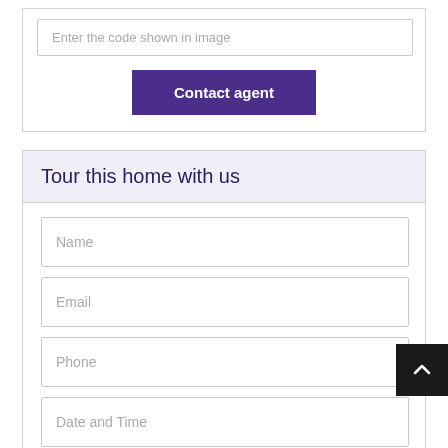Enter the code shown in image
Contact agent
Tour this home with us
Name
Email
Phone
Date and Time